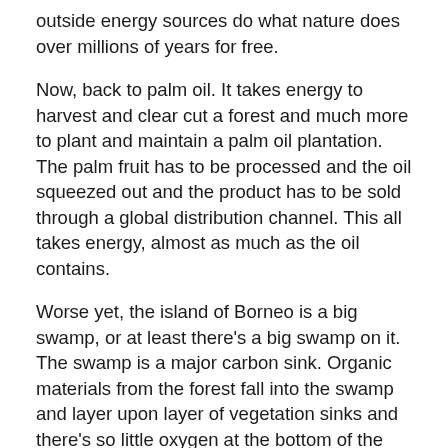outside energy sources do what nature does over millions of years for free.
Now, back to palm oil. It takes energy to harvest and clear cut a forest and much more to plant and maintain a palm oil plantation. The palm fruit has to be processed and the oil squeezed out and the product has to be sold through a global distribution channel. This all takes energy, almost as much as the oil contains.
Worse yet, the island of Borneo is a big swamp, or at least there’s a big swamp on it. The swamp is a major carbon sink. Organic materials from the forest fall into the swamp and layer upon layer of vegetation sinks and there’s so little oxygen at the bottom of the swamp that decay is thwarted. Over a hundred million years or so, under accumulated pressure the dead vegetation gradually turns first to peat and then to coal.
But all that is reversing now as human activity is releasing that carbon to the atmosphere. So in the